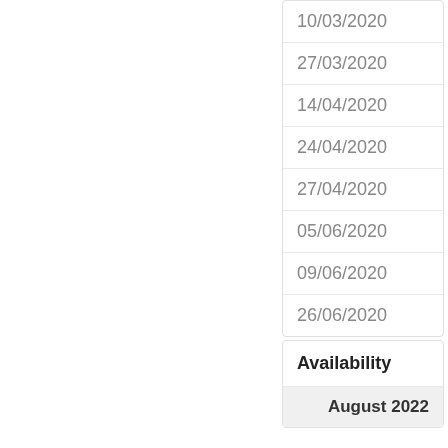| Date |
| --- |
| 10/03/2020 |
| 27/03/2020 |
| 14/04/2020 |
| 24/04/2020 |
| 27/04/2020 |
| 05/06/2020 |
| 09/06/2020 |
| 26/06/2020 |
Availability
|  |
| --- |
| August 2022 |